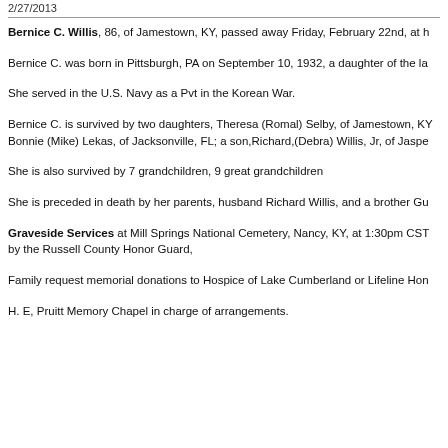2/27/2013
Bernice C. Willis, 86, of Jamestown, KY, passed away Friday, February 22nd, at h
Bernice C. was born in Pittsburgh, PA on September 10, 1932, a daughter of the la
She served in the U.S. Navy as a Pvt in the Korean War.
Bernice C. is survived by two daughters, Theresa (Romal) Selby, of Jamestown, KY Bonnie (Mike) Lekas, of Jacksonville, FL; a son,Richard,(Debra) Willis, Jr, of Jaspe
She is also survived by 7 grandchildren, 9 great grandchildren
She is preceded in death by her parents, husband Richard Willis, and a brother Gu
Graveside Services at Mill Springs National Cemetery, Nancy, KY, at 1:30pm CST by the Russell County Honor Guard,
Family request memorial donations to Hospice of Lake Cumberland or Lifeline Hon
H. E, Pruitt Memory Chapel in charge of arrangements.